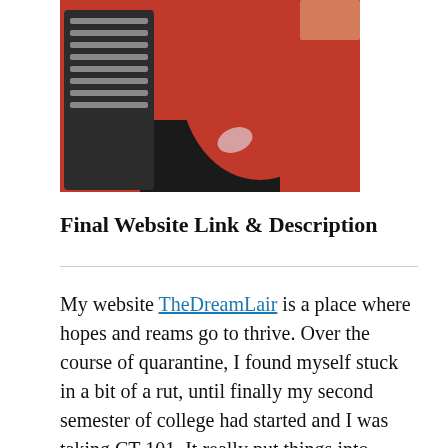[Figure (photo): Person wearing a red top standing near a black office chair]
Final Website Link & Description
My website TheDreamLair is a place where hopes and reams go to thrive. Over the course of quarantine, I found myself stuck in a bit of a rut, until finally my second semester of college had started and I was taking CT 101. It really put things into perspective for me, I had already been trying to become an influencer and this website just added on to the other sources of